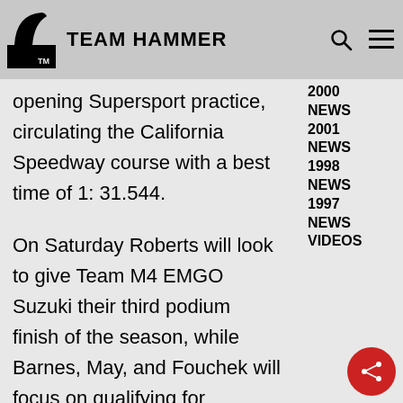TEAM HAMMER
opening Supersport practice, circulating the California Speedway course with a best time of 1: 31.544.
2000 NEWS
2001 NEWS
1998 NEWS
1997 NEWS
VIDEOS
On Saturday Roberts will look to give Team M4 EMGO Suzuki their third podium finish of the season, while Barnes, May, and Fouchek will focus on qualifying for